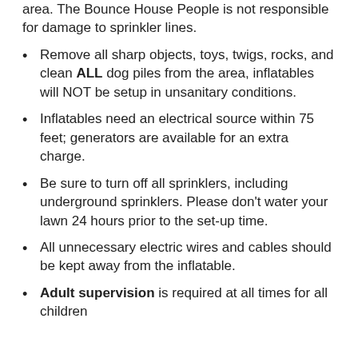area. The Bounce House People is not responsible for damage to sprinkler lines.
Remove all sharp objects, toys, twigs, rocks, and clean ALL dog piles from the area, inflatables will NOT be setup in unsanitary conditions.
Inflatables need an electrical source within 75 feet; generators are available for an extra charge.
Be sure to turn off all sprinklers, including underground sprinklers. Please don't water your lawn 24 hours prior to the set-up time.
All unnecessary electric wires and cables should be kept away from the inflatable.
Adult supervision is required at all times for all children